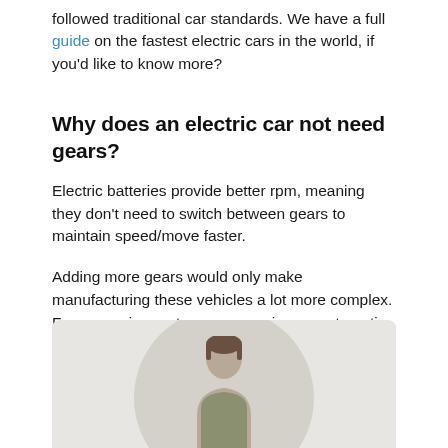followed traditional car standards. We have a full guide on the fastest electric cars in the world, if you’d like to know more?
Why does an electric car not need gears?
Electric batteries provide better rpm, meaning they don’t need to switch between gears to maintain speed/move faster.
Adding more gears would only make manufacturing these vehicles a lot more complex. Fewer moving parts means owning an automatic electric car comes with lower maintenance costs.
[Figure (photo): A person (visible from chest up) photographed inside a circular crop against a light grey/beige background, partially visible at the bottom of the page.]